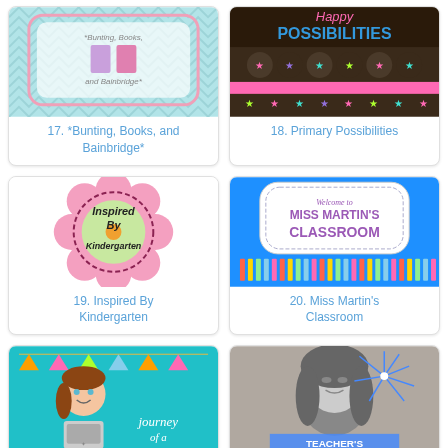[Figure (illustration): Blog thumbnail for *Bunting, Books, and Bainbridge* showing books on mint chevron background with pink border]
17. *Bunting, Books, and Bainbridge*
[Figure (illustration): Blog thumbnail for Primary Possibilities showing stars and cupcake decorations on dark background]
18. Primary Possibilities
[Figure (illustration): Blog thumbnail for Inspired By Kindergarten showing flower logo with text]
19. Inspired By Kindergarten
[Figure (illustration): Blog thumbnail for Miss Martin's Classroom showing welcome sign with pencils on blue background]
20. Miss Martin's Classroom
[Figure (illustration): Blog thumbnail for Journey of a showing cartoon teacher girl on teal background]
[Figure (photo): Blog thumbnail showing black and white photo of person with blue starburst graphic overlay and text TEACHER'S]